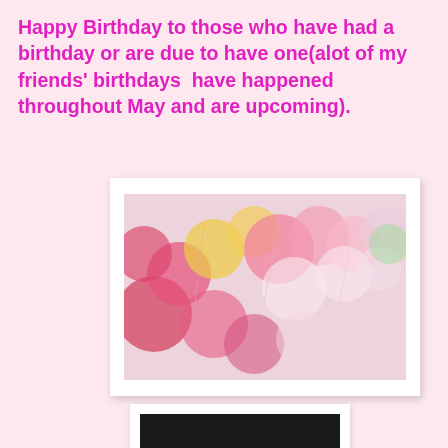Happy Birthday to those who have had a birthday or are due to have one(alot of my friends' birthdays  have happened throughout May and are upcoming).
[Figure (photo): Blurred photo of colorful paper lanterns or balloons in pink, red, yellow, white, and green tones with string lights.]
[Figure (photo): Photo of several lit birthday candles against a dark/black background, with glowing flames visible at the top.]